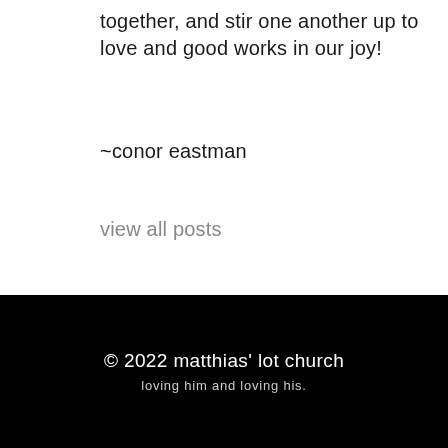together, and stir one another up to love and good works in our joy!
~conor eastman
view all posts
© 2022 matthias' lot church
loving him and loving his.